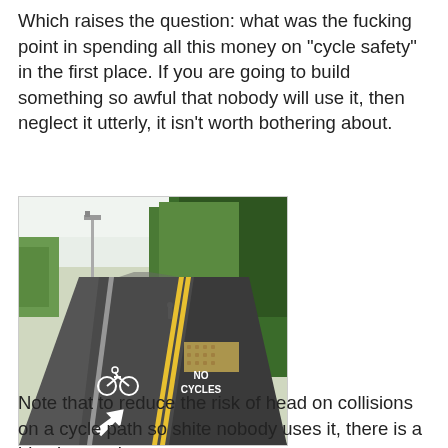Which raises the question: what was the fucking point in spending all this money on "cycle safety" in the first place. If you are going to build something so awful that nobody will use it, then neglect it utterly, it isn't worth bothering about.
[Figure (photo): A road with double yellow lines and a cycle lane. On the road surface is painted a bicycle symbol and an arrow pointing left. On the pavement/path to the right of the yellow lines, text is painted reading 'NO CYCLES'. There is a tactile paving area visible. Trees line the right side of the road and a streetlight is visible in the background.]
Note that to reduce the risk of head on collisions on a cycle path so shite nobody uses it, there is a big sign on the west